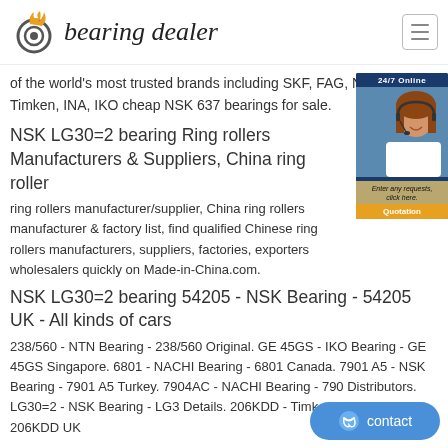bearing dealer
of the world's most trusted brands including SKF, FAG, NTN, NSK, Timken, INA, IKO cheap NSK 637 bearings for sale.
NSK LG30=2 bearing Ring rollers Manufacturers & Suppliers, China ring roller
ring rollers manufacturer/supplier, China ring rollers manufacturer & factory list, find qualified Chinese ring rollers manufacturers, suppliers, factories, exporters wholesalers quickly on Made-in-China.com.
NSK LG30=2 bearing 54205 - NSK Bearing - 54205 UK - All kinds of cars
238/560 - NTN Bearing - 238/560 Original. GE 45GS - IKO Bearing - GE 45GS Singapore. 6801 - NACHI Bearing - 6801 Canada. 7901 A5 - NSK Bearing - 7901 A5 Turkey. 7904AC - NACHI Bearing - 790 Distributors. LG30=2 - NSK Bearing - LG3 Details. 206KDD - Timken Bearing - 206KDD UK
[Figure (photo): Customer service chat widget showing a woman with headset, 24/7 Online label, and Quotation button]